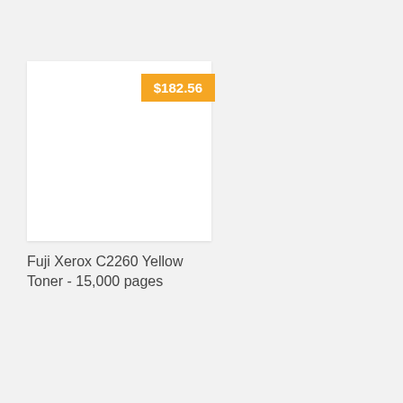[Figure (photo): Product card showing a white product image area with an orange price badge reading $182.56 in the upper right corner]
Fuji Xerox C2260 Yellow Toner - 15,000 pages